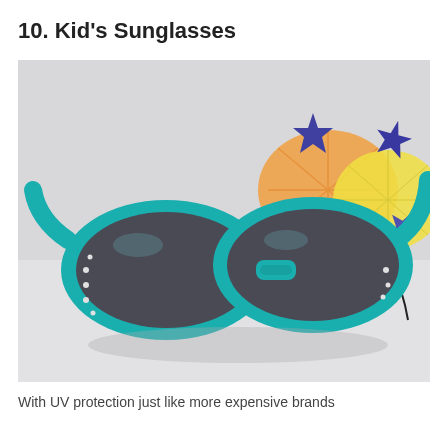10. Kid's Sunglasses
[Figure (photo): Photo of teal/turquoise kid's sunglasses with small rhinestone details on the frames, placed in front of colorful items including starfish decorations, orange and lemon slices, against a light grey background.]
With UV protection just like more expensive brands